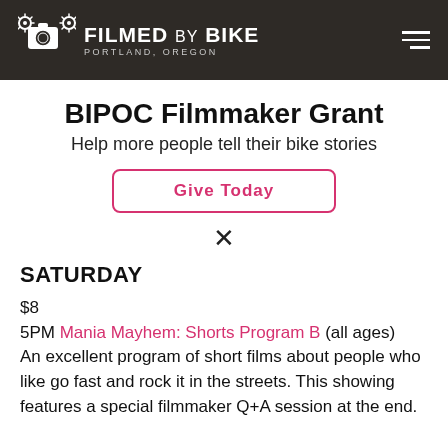FILMED BY BIKE PORTLAND, OREGON
BIPOC Filmmaker Grant
Help more people tell their bike stories
Give Today
SATURDAY
$8
5PM Mania Mayhem: Shorts Program B (all ages)
An excellent program of short films about people who like go fast and rock it in the streets. This showing features a special filmmaker Q+A session at the end.